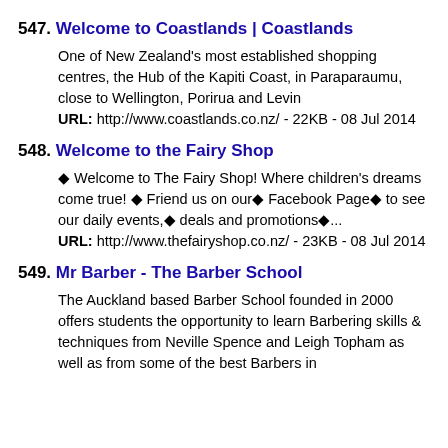547. Welcome to Coastlands | Coastlands
One of New Zealand's most established shopping centres, the Hub of the Kapiti Coast, in Paraparaumu, close to Wellington, Porirua and Levin
URL: http://www.coastlands.co.nz/ - 22KB - 08 Jul 2014
548. Welcome to the Fairy Shop
◆ Welcome to The Fairy Shop! Where children's dreams come true! ◆ Friend us on our◆ Facebook Page◆ to see our daily events,◆ deals and promotions◆...
URL: http://www.thefairyshop.co.nz/ - 23KB - 08 Jul 2014
549. Mr Barber - The Barber School
The Auckland based Barber School founded in 2000 offers students the opportunity to learn Barbering skills & techniques from Neville Spence and Leigh Topham as well as from some of the best Barbers in